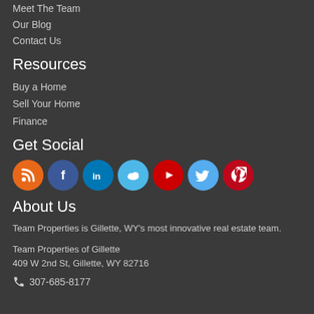Meet The Team
Our Blog
Contact Us
Resources
Buy a Home
Sell Your Home
Finance
Get Social
[Figure (infographic): Social media icons: RSS (orange), Facebook (blue), LinkedIn (blue), Cloud/other (light blue), YouTube (red), Twitter (light blue), Pinterest (red)]
About Us
Team Properties is Gillette, WY's most innovative real estate team.
Team Properties of Gillette
409 W 2nd St, Gillette, WY 82716
307-685-8177